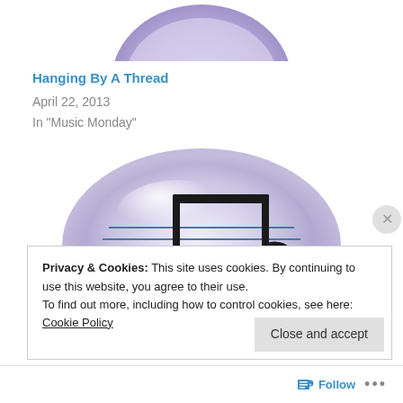[Figure (illustration): Purple oval blob/button graphic at top of page, partially cropped]
Hanging By A Thread
April 22, 2013
In "Music Monday"
[Figure (illustration): Purple oval glossy button with a music note icon (eighth notes on staff lines) in the center]
Privacy & Cookies: This site uses cookies. By continuing to use this website, you agree to their use.
To find out more, including how to control cookies, see here: Cookie Policy
Close and accept
Follow ...